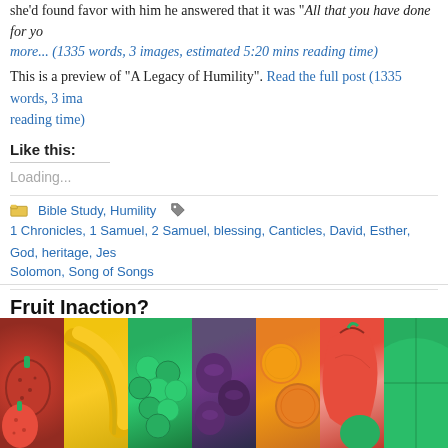she'd found favor with him he answered that it was "All that you have done for yo more... (1335 words, 3 images, estimated 5:20 mins reading time)
This is a preview of “A Legacy of Humility”. Read the full post (1335 words, 3 ima reading time)
Like this:
Loading...
Bible Study, Humility
1 Chronicles, 1 Samuel, 2 Samuel, blessing, Canticles, David, Esther, God, heritage, Jes Solomon, Song of Songs
Fruit Inaction?
March 23rd, 2015   Kevin
Warning: count(): Parameter must be an array or an object that implements Counta oy, peace and patience 001\www\kevinriggs_faith\wp-includes\class-wp-comment-query.php on line 39
Comments off
[Figure (photo): Strip of fruit photos: strawberries, bananas, green grapes, dark plums, oranges/lemons, peach/apple, watermelon]